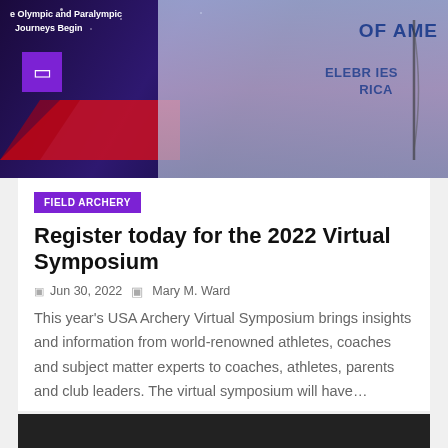[Figure (photo): Hero image showing archery athletes in USA team uniforms, with a purple decorative element and text 'Olympic and Paralympic Journeys Begin' overlay on a dark background]
FIELD ARCHERY
Register today for the 2022 Virtual Symposium
Jun 30, 2022  Mary M. Ward
This year's USA Archery Virtual Symposium brings insights and information from world-renowned athletes, coaches and subject matter experts to coaches, athletes, parents and club leaders. The virtual symposium will have…
[Figure (photo): Dark strip at the bottom, partially visible second image]